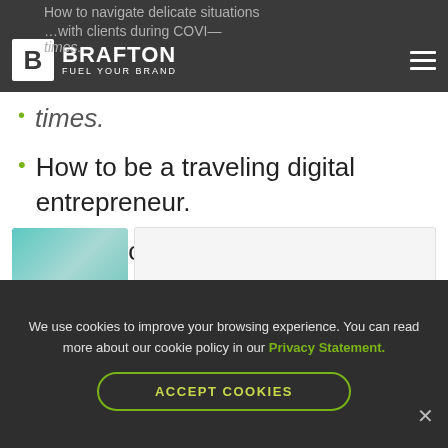Brafton — Fuel Your Brand (navigation bar)
How to navigate delicate situations…
…with clients during COVID times.
How to be a traveling digital entrepreneur.
Much more.
Buckle in, because this one is a wild (but very fun) ride:
[Figure (photo): Thumbnail image preview strip at bottom of article content area]
We use cookies to improve your browsing experience. You can read more about our cookie policy in our Privacy Statement.